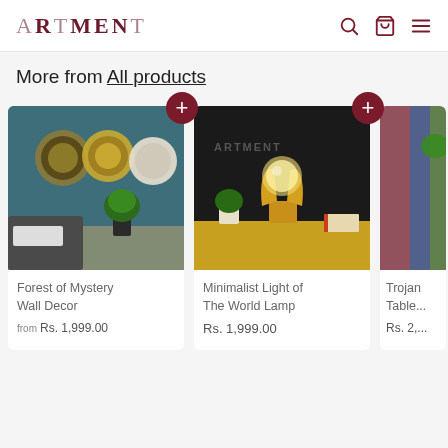ARTMENT
More from All products
[Figure (photo): Forest of Mystery Wall Decor - circular gold and white wall art pieces on teal/blue wall, with green plant in black pot and gray sofa with white cushion]
Forest of Mystery Wall Decor
from Rs. 1,999.00
[Figure (photo): Minimalist Light of The World Lamp - gold hand-shaped lamp holding a glass globe, on yellow surface with green plants and book in background, ARTMENT branding visible]
Minimalist Light of The World Lamp
Rs. 1,999.00
[Figure (photo): Partial view of a third product - Trojan Table product with colorful art visible]
Trojan Table...
Rs. 2,...